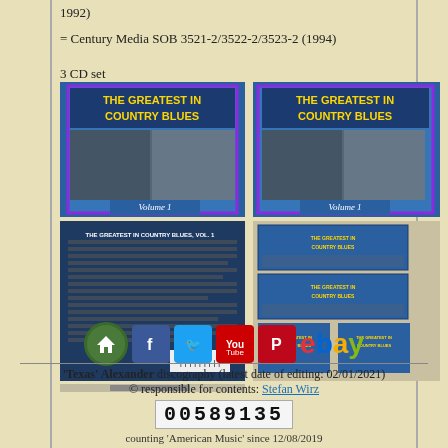1992)
= Century Media SOB 3521-2/3522-2/3523-2 (1994)
3 CD set
[Figure (photo): Four photos of 'The Greatest in Country Blues' CD set showing front covers and back covers with multiple CDs]
[Figure (infographic): Social media icons: home, Facebook, Twitter, YouTube, Pinterest, eBay]
'Texas' Alexander discography (latest date of editing: 02/01/2021)
© responsible for contents: Stefan Wirz
00589135
counting 'American Music' since 12/08/2019